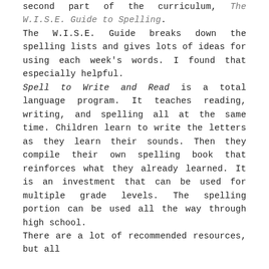second part of the curriculum, The W.I.S.E. Guide to Spelling.
The W.I.S.E. Guide breaks down the spelling lists and gives lots of ideas for using each week's words. I found that especially helpful.
Spell to Write and Read is a total language program. It teaches reading, writing, and spelling all at the same time. Children learn to write the letters as they learn their sounds. Then they compile their own spelling book that reinforces what they already learned. It is an investment that can be used for multiple grade levels. The spelling portion can be used all the way through high school.
There are a lot of recommended resources, but all